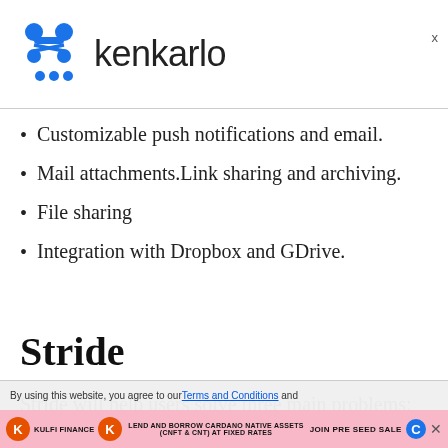[Figure (logo): Kenkarlo logo: blue connected-node/graph icon on the left with 'kenkarlo' text in dark sans-serif on the right]
Customizable push notifications and email.
Mail attachments.Link sharing and archiving.
File sharing
Integration with Dropbox and GDrive.
Stride
Stride will help users solve three main problems:
By using this website, you agree to our Terms and Conditions and [ad bar] KULFI FINANCE LEND AND BORROW CARDANO NATIVE ASSETS (CNFT & CNT) AT FIXED RATES JOIN PRE SEED SALE